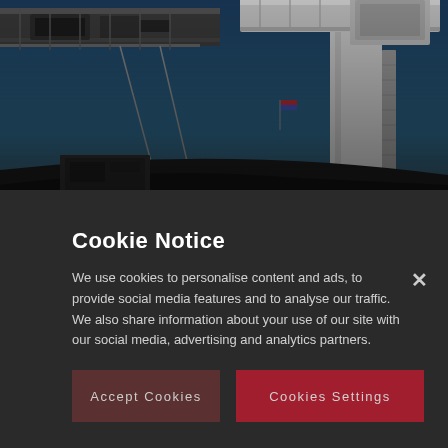[Figure (photo): Industrial port cranes photographed from below against a blue sky, showing crane booms, metal structures and scaffolding. A ship deck is visible in the lower portion. Dark blue/teal tones with a dimmed overlay.]
Cookie Notice
We use cookies to personalise content and ads, to provide social media features and to analyse our traffic. We also share information about your use of our site with our social media, advertising and analytics partners.
Accept Cookies
Cookies Settings